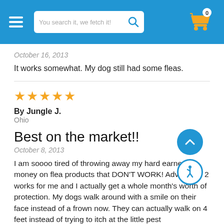[Figure (screenshot): E-commerce website header with blue background, hamburger menu, search bar reading 'You search it, we fetch it!', and shopping cart icon with 0 items]
October 16, 2013
It works somewhat. My dog still had some fleas.
★★★★★
By Jungle J.
Ohio
Best on the market!!
October 8, 2013
I am soooo tired of throwing away my hard earned money on flea products that DON'T WORK! Advantage 2 works for me and I actually get a whole month's worth of protection. My dogs walk around with a smile on their face instead of a frown now. They can actually walk on 4 feet instead of trying to itch at the little pest